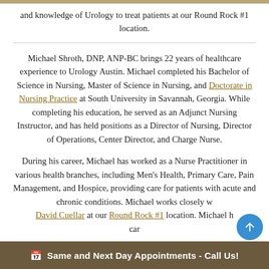and knowledge of Urology to treat patients at our Round Rock #1 location.
Michael Shroth, DNP, ANP-BC brings 22 years of healthcare experience to Urology Austin. Michael completed his Bachelor of Science in Nursing, Master of Science in Nursing, and Doctorate in Nursing Practice at South University in Savannah, Georgia. While completing his education, he served as an Adjunct Nursing Instructor, and has held positions as a Director of Nursing, Director of Operations, Center Director, and Charge Nurse.
During his career, Michael has worked as a Nurse Practitioner in various health branches, including Men's Health, Primary Care, Pain Management, and Hospice, providing care for patients with acute and chronic conditions. Michael works closely w David Cuellar at our Round Rock #1 location. Michael h care
Same and Next Day Appointments - Call Us!